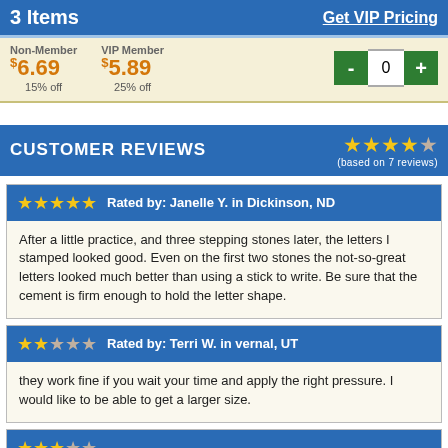3 Items   Get VIP Pricing
Non-Member $6.69 15% off   VIP Member $5.89 25% off   - 0 +
CUSTOMER REVIEWS (based on 7 reviews)
★★★★★ Rated by: Janelle Y. in Dickinson, ND
After a little practice, and three stepping stones later, the letters I stamped looked good. Even on the first two stones the not-so-great letters looked much better than using a stick to write. Be sure that the cement is firm enough to hold the letter shape.
★★★☆☆ Rated by: Terri W. in vernal, UT
they work fine if you wait your time and apply the right pressure. I would like to be able to get a larger size.